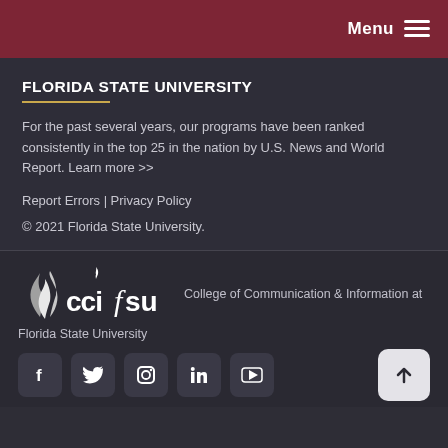Menu ☰
FLORIDA STATE UNIVERSITY
For the past several years, our programs have been ranked consistently in the top 25 in the nation by U.S. News and World Report. Learn more >>
Report Errors | Privacy Policy
© 2021 Florida State University.
[Figure (logo): CCI FSU logo with flame symbol and text 'ccifsu', followed by 'College of Communication & Information at Florida State University']
[Figure (infographic): Social media icons: Facebook, Twitter, Instagram, LinkedIn, YouTube, and a back-to-top arrow button]